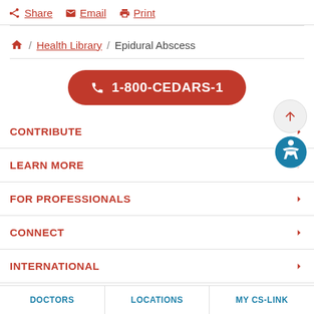Share  Email  Print
Home / Health Library / Epidural Abscess
1-800-CEDARS-1
CONTRIBUTE
LEARN MORE
FOR PROFESSIONALS
CONNECT
INTERNATIONAL
DOCTORS  LOCATIONS  MY CS-LINK